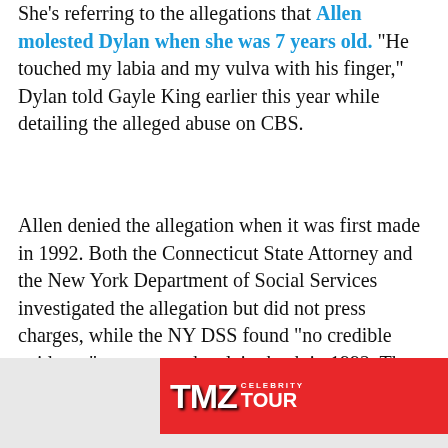She's referring to the allegations that Allen molested Dylan when she was 7 years old. "He touched my labia and my vulva with his finger," Dylan told Gayle King earlier this year while detailing the alleged abuse on CBS.
Allen denied the allegation when it was first made in 1992. Both the Connecticut State Attorney and the New York Department of Social Services investigated the allegation but did not press charges, while the NY DSS found "no credible evidence" to support the claim back in 1992. The allegation came out after Mia had learned of Allen's affair with Soon-Yi by discovering nude photos he had taken of her at his apartment.
[Figure (other): TMZ Celebrity Tour advertisement banner with red background, TMZ logo, a tour bus graphic, and GET TICKETS button]
In the ... nts an unflattering picture of Mia's parenting.